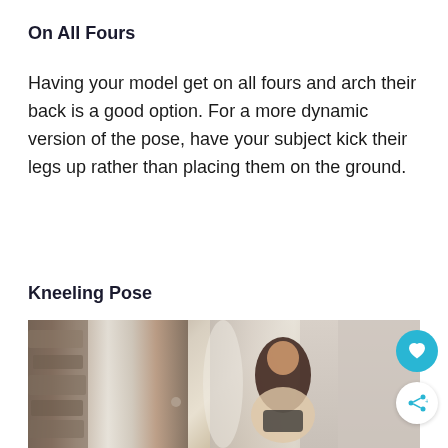On All Fours
Having your model get on all fours and arch their back is a good option. For a more dynamic version of the pose, have your subject kick their legs up rather than placing them on the ground.
Kneeling Pose
[Figure (photo): A woman in lingerie kneeling in front of white curtain drapes in a studio or rustic room setting, with a teal heart button and a white share button overlaid on the right side of the image.]